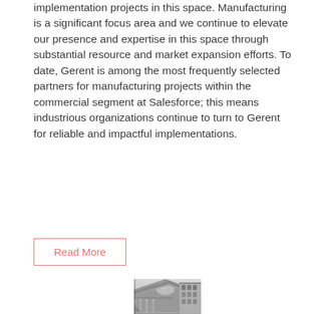implementation projects in this space. Manufacturing is a significant focus area and we continue to elevate our presence and expertise in this space through substantial resource and market expansion efforts. To date, Gerent is among the most frequently selected partners for manufacturing projects within the commercial segment at Salesforce; this means industrious organizations continue to turn to Gerent for reliable and impactful implementations.
Read More
[Figure (photo): Black and white photograph of a neoclassical building exterior shot from below, showing ornate columns, a dome, cornice details, and decorative friezes. Another wing of the building is visible to the right.]